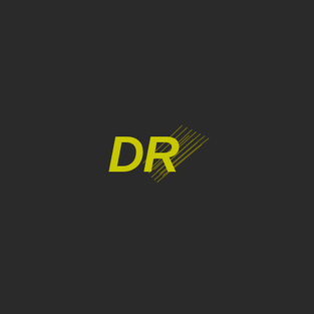[Figure (logo): DR logo: bold yellow-green 'DR' text with diagonal speed lines extending to the upper-right from behind the letters, on a dark charcoal background.]